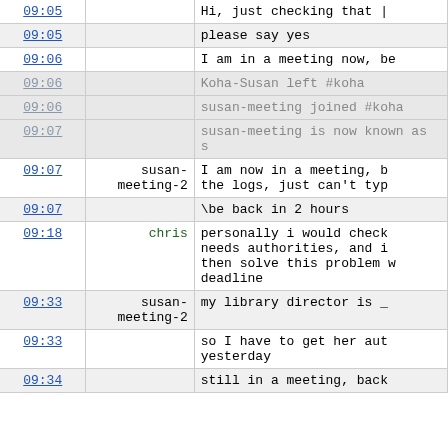| time | user | message |
| --- | --- | --- |
| 09:05 |  | Hi, just checking that | |
| 09:05 |  | please say yes |
| 09:06 |  | I am in a meeting now, be |
| 09:06 |  | Koha-Susan left #koha |
| 09:06 |  | susan-meeting joined #koha |
| 09:07 |  | susan-meeting is now known as s |
| 09:07 | susan-meeting-2 | I am now in a meeting, b the logs, just can't typ |
| 09:07 |  | \be back in 2 hours |
| 09:18 | chris | personally i would check needs authorities, and i then solve this problem w deadline |
| 09:33 | susan-meeting-2 | my library director is _ |
| 09:33 |  | so I have to get her aut yesterday |
| 09:34 |  | still in a meeting, back |